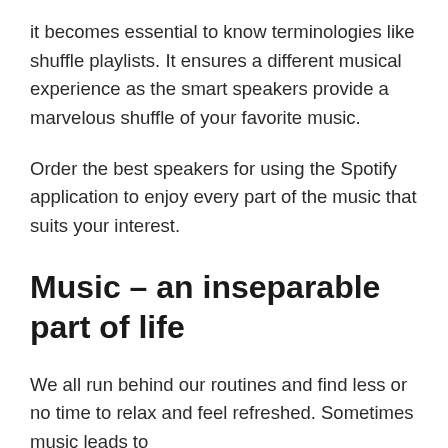it becomes essential to know terminologies like shuffle playlists. It ensures a different musical experience as the smart speakers provide a marvelous shuffle of your favorite music.
Order the best speakers for using the Spotify application to enjoy every part of the music that suits your interest.
Music – an inseparable part of life
We all run behind our routines and find less or no time to relax and feel refreshed. Sometimes music leads to